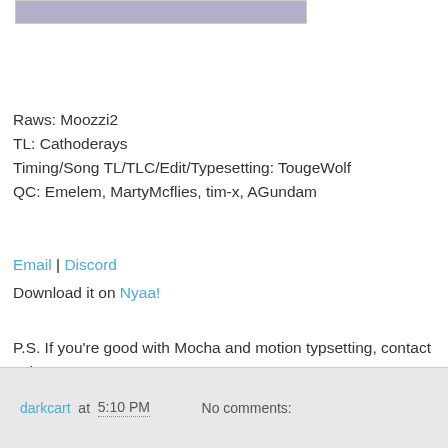[Figure (photo): Partial image cropped at top of page, appears to show a dark silhouette against a light/purple background]
Raws: Moozzi2
TL: Cathoderays
Timing/Song TL/TLC/Edit/Typesetting: TougeWolf
QC: Emelem, MartyMcflies, tim-x, AGundam
Email | Discord
Download it on Nyaa!
P.S. If you're good with Mocha and motion typsetting, contact us!
darkcart at 5:10 PM    No comments: